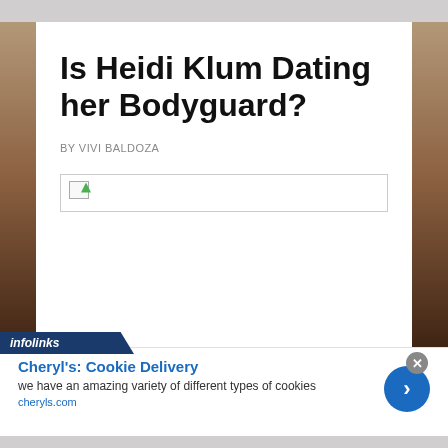Is Heidi Klum Dating her Bodyguard?
BY VIVI BALDOZA
[Figure (photo): Broken image placeholder with small icon]
Cheryl's: Cookie Delivery
we have an amazing variety of different types of cookies
cheryls.com